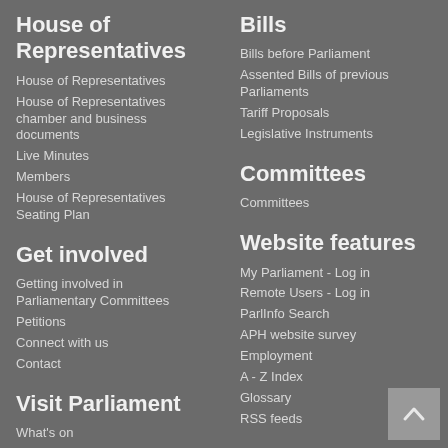House of Representatives
House of Representatives
House of Representatives chamber and business documents
Live Minutes
Members
House of Representatives Seating Plan
Get involved
Getting involved in Parliamentary Committees
Petitions
Connect with us
Contact
Visit Parliament
What's on
Bills
Bills before Parliament
Assented Bills of previous Parliaments
Tariff Proposals
Legislative Instruments
Committees
Committees
Website features
My Parliament - Log in
Remote Users - Log in
ParlInfo Search
APH website survey
Employment
A - Z Index
Glossary
RSS feeds